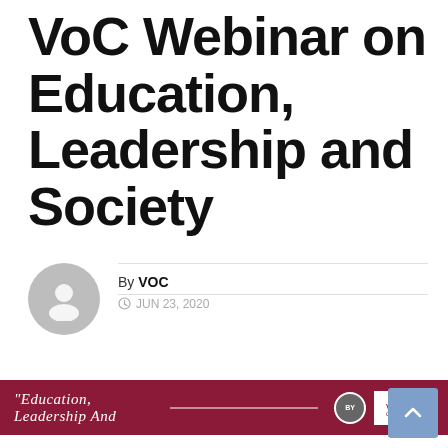VoC Webinar on Education, Leadership and Society
By VOC
JUN 23, 2020
[Figure (screenshot): Dark red/maroon banner with italic text reading "Education, Leadership And" followed by a line, a circle with 'BY' text, and a white VOC logo on the right.]